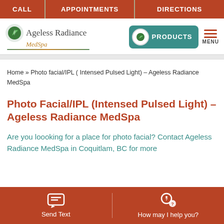CALL | APPOINTMENTS | DIRECTIONS
[Figure (logo): Ageless Radiance MedSpa logo with leaf icon]
[Figure (screenshot): PRODUCTS button with teal background and MENU icon]
Home » Photo facial/IPL ( Intensed Pulsed Light) – Ageless Radiance MedSpa
Photo Facial/IPL (Intensed Pulsed Light) – Ageless Radiance MedSpa
Are you loooking for a place for photo facial? Contact Ageless Radiance MedSpa in Coquitlam, BC for more
Send Text | How may I help you?